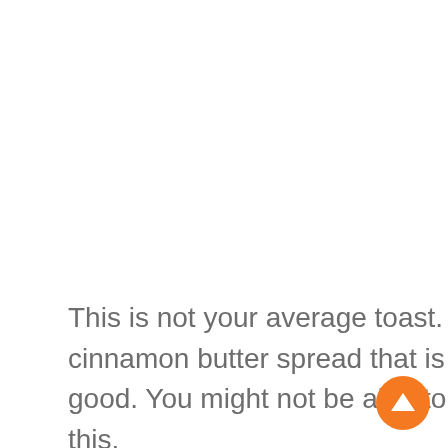This is not your average toast. It is toast with an amazing maple cinnamon butter spread that is baked and browned in the oven and so good. You might not be able to go back to regular toast after trying this.